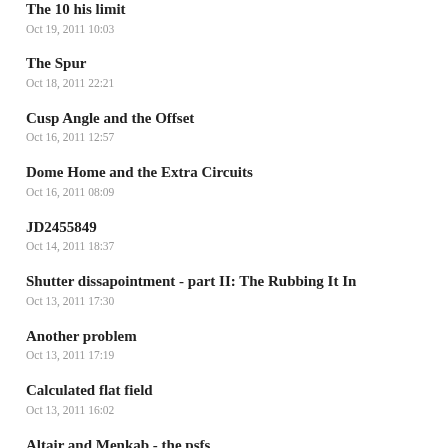The 10 his limit
Oct 19, 2011 10:03
The Spur
Oct 18, 2011 22:21
Cusp Angle and the Offset
Oct 16, 2011 12:57
Dome Home and the Extra Circuits
Oct 16, 2011 08:09
JD2455849
Oct 14, 2011 18:37
Shutter dissapointment - part II: The Rubbing It In
Oct 13, 2011 17:30
Another problem
Oct 13, 2011 17:19
Calculated flat field
Oct 13, 2011 16:02
Altair and Menkab - the psfs
Oct 13, 2011 13:13